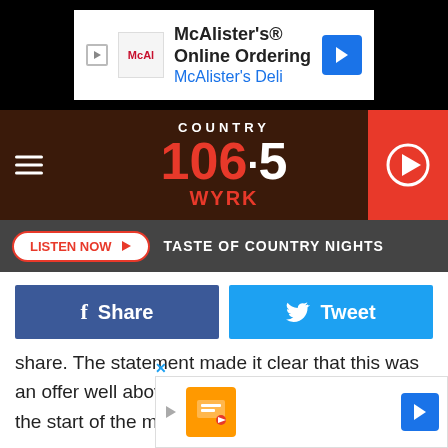[Figure (screenshot): McAlister's Online Ordering ad banner with McAlister's Deli logo and navigation arrow]
[Figure (logo): Country 106.5 WYRK radio station logo with hamburger menu and play button]
LISTEN NOW ▶  TASTE OF COUNTRY NIGHTS
[Figure (other): Facebook Share and Twitter Tweet social sharing buttons]
share. The statement made it clear that this was an offer well above what shares were going for at the start of the month.
Musk commented on the buyout and emphasized his commitment to free speech on the platform. The SpaceX and Tesla CEO also shared some potential plans for the app's future. Those include doing away with bots; working to authen...d improv...